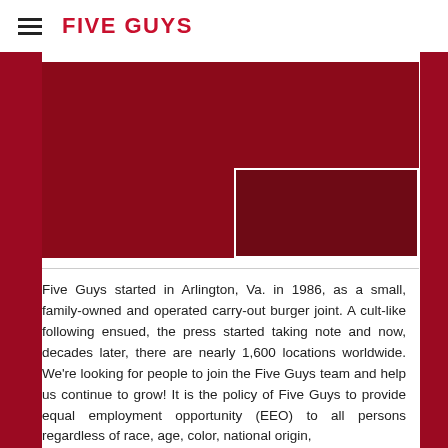FIVE GUYS
[Figure (photo): Five Guys promotional image with dark red background and overlapping rectangle element]
Five Guys started in Arlington, Va. in 1986, as a small, family-owned and operated carry-out burger joint. A cult-like following ensued, the press started taking note and now, decades later, there are nearly 1,600 locations worldwide. We're looking for people to join the Five Guys team and help us continue to grow! It is the policy of Five Guys to provide equal employment opportunity (EEO) to all persons regardless of race, age, color, national origin,